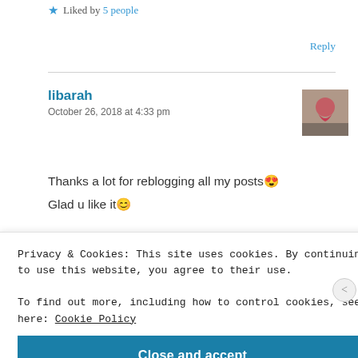★ Liked by 5 people
Reply
libarah
October 26, 2018 at 4:33 pm
[Figure (photo): Avatar thumbnail photo of user libarah]
Thanks a lot for reblogging all my posts😍
Glad u like it😊
★ Like
Privacy & Cookies: This site uses cookies. By continuing to use this website, you agree to their use.
To find out more, including how to control cookies, see here: Cookie Policy
Close and accept